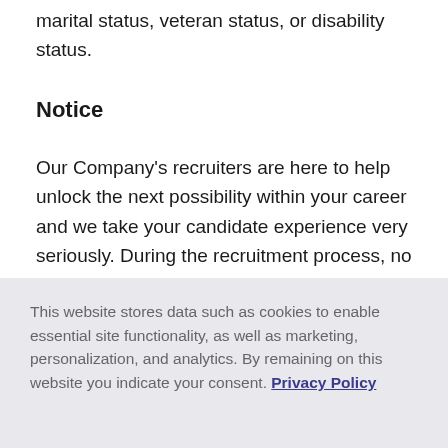marital status, veteran status, or disability status.
Notice
Our Company's recruiters are here to help unlock the next possibility within your career and we take your candidate experience very seriously. During the recruitment process, no recruiter or employee will request financial or personal information (Social Security Number,
This website stores data such as cookies to enable essential site functionality, as well as marketing, personalization, and analytics. By remaining on this website you indicate your consent. Privacy Policy